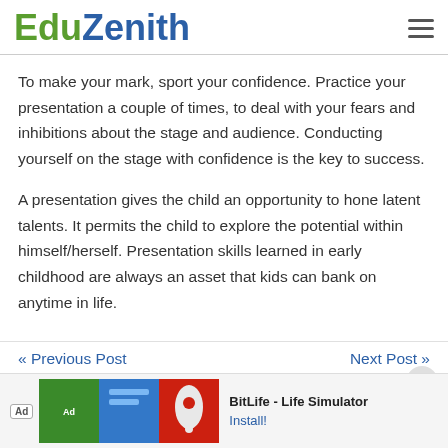EduZenith
To make your mark, sport your confidence. Practice your presentation a couple of times, to deal with your fears and inhibitions about the stage and audience. Conducting yourself on the stage with confidence is the key to success.
A presentation gives the child an opportunity to hone latent talents. It permits the child to explore the potential within himself/herself. Presentation skills learned in early childhood are always an asset that kids can bank on anytime in life.
« Previous Post   Next Post »
[Figure (other): Advertisement banner for BitLife - Life Simulator app with install button]